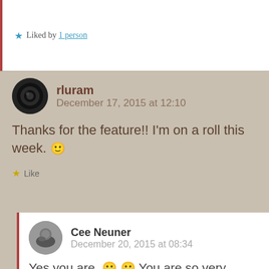★ Liked by 1 person
rluram
December 17, 2015 at 12:10
Thanks for the feature!! I'm on a roll this week. 🙂
★ Like
Cee Neuner
December 20, 2015 at 08:34
Yes you are. 😀 😀 You are so very welcome.